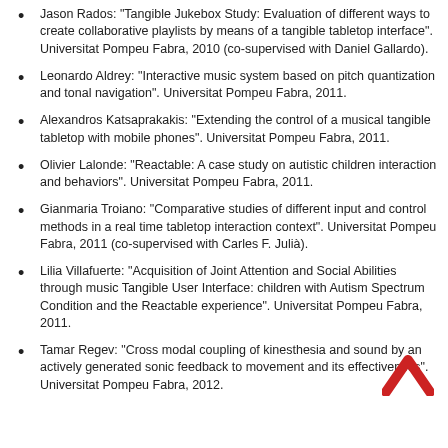Jason Rados: "Tangible Jukebox Study: Evaluation of different ways to create collaborative playlists by means of a tangible tabletop interface". Universitat Pompeu Fabra, 2010 (co-supervised with Daniel Gallardo).
Leonardo Aldrey: "Interactive music system based on pitch quantization and tonal navigation". Universitat Pompeu Fabra, 2011.
Alexandros Katsaprakakis: "Extending the control of a musical tangible tabletop with mobile phones". Universitat Pompeu Fabra, 2011.
Olivier Lalonde: "Reactable: A case study on autistic children interaction and behaviors". Universitat Pompeu Fabra, 2011.
Gianmaria Troiano: "Comparative studies of different input and control methods in a real time tabletop interaction context". Universitat Pompeu Fabra, 2011 (co-supervised with Carles F. Julià).
Lilia Villafuerte: "Acquisition of Joint Attention and Social Abilities through music Tangible User Interface: children with Autism Spectrum Condition and the Reactable experience". Universitat Pompeu Fabra, 2011.
Tamar Regev: "Cross modal coupling of kinesthesia and sound by an actively generated sonic feedback to movement and its effectiveness". Universitat Pompeu Fabra, 2012.
[Figure (illustration): Red upward-pointing chevron/arrow icon in the bottom-right area of the page.]